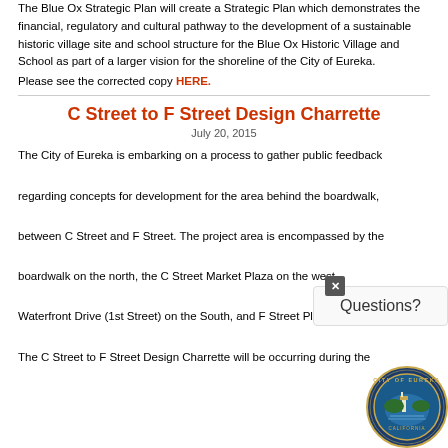The Blue Ox Strategic Plan will create a Strategic Plan which demonstrates the financial, regulatory and cultural pathway to the development of a sustainable historic village site and school structure for the Blue Ox Historic Village and School as part of a larger vision for the shoreline of the City of Eureka.
Please see the corrected copy HERE.
C Street to F Street Design Charrette
July 20, 2015
The City of Eureka is embarking on a process to gather public feedback regarding concepts for development for the area behind the boardwalk, between C Street and F Street. The project area is encompassed by the boardwalk on the north, the C Street Market Plaza on the west, Waterfront Drive (1st Street) on the South, and F Street Plaza on the
The C Street to F Street Design Charrette will be occurring during the
[Figure (other): Questions? popup box with close button (x)]
[Figure (logo): City of Eureka California official seal/logo]